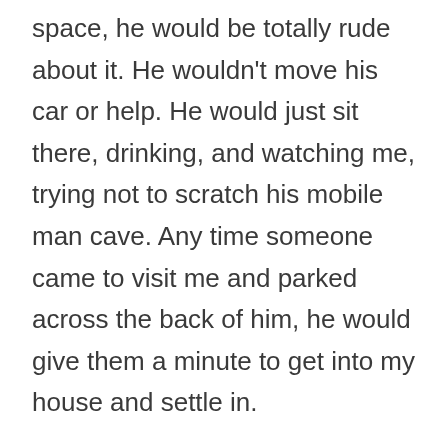space, he would be totally rude about it. He wouldn't move his car or help. He would just sit there, drinking, and watching me, trying not to scratch his mobile man cave. Any time someone came to visit me and parked across the back of him, he would give them a minute to get into my house and settle in.

Then, he would show up at my door intoxicated and insist they move their car